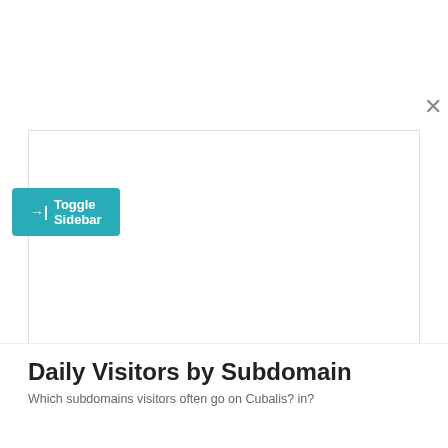[Figure (screenshot): Toggle Sidebar button (teal) and close X button on a toolbar]
[Figure (other): Empty white chart placeholder box with border]
| # | Country / Region | Visitors ? | Percentage | Ra |
| --- | --- | --- | --- | --- |
| 1 | Japan | 2,700 | 100.0% | #1 |
Daily Visitors by Subdomain
Which subdomains visitors often go on Cubalis? in?